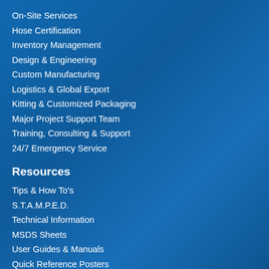On-Site Services
Hose Certification
Inventory Management
Design & Engineering
Custom Manufacturing
Logistics & Global Export
Kitting & Customized Packaging
Major Project Support Team
Training, Consulting & Support
24/7 Emergency Service
Resources
Tips & How To's
S.T.A.M.P.E.D.
Technical Information
MSDS Sheets
User Guides & Manuals
Quick Reference Posters
Watch it Work
PDF Catalog
About Us
Our Company & People